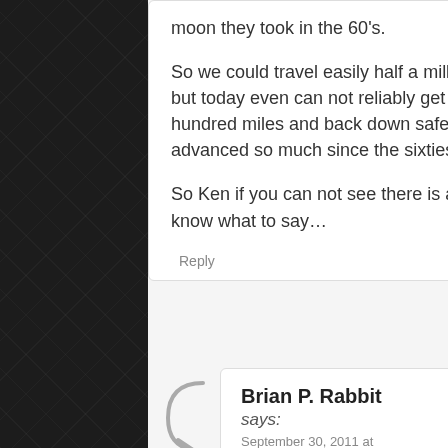moon they took in the 60's.

So we could travel easily half a million miles in space in the sixties but today even can not reliably get a space shuttle up less than a hundred miles and back down safely? And our technology has truly advanced so much since the sixties.

So Ken if you can not see there is a problem here then I do not know what to say...
Reply
Brian P. Rabbit
says:
September 30, 2011 at